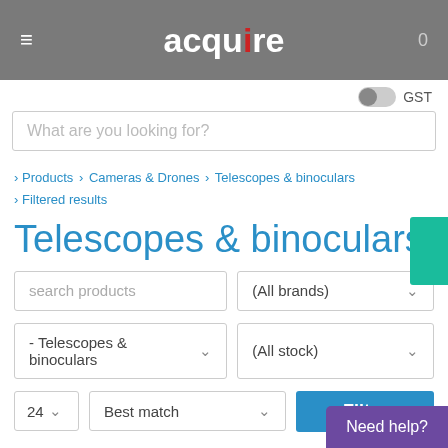≡ acquire 0
GST
What are you looking for?
> Products > Cameras & Drones > Telescopes & binoculars > Filtered results
Telescopes & binoculars
search products
(All brands)
- Telescopes & binoculars
(All stock)
24
Best match
Filter
Need help?